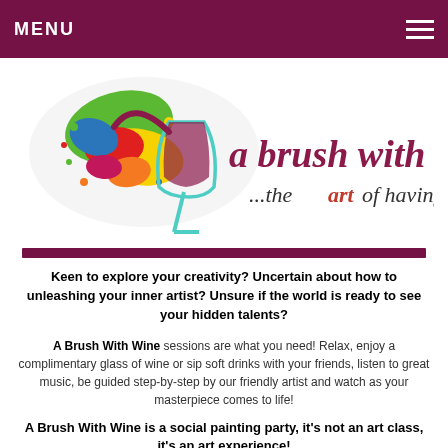MENU
[Figure (logo): A Brush With Wine logo featuring a wine glass with colorful paint splashes and the text 'a brush with wine ...the art of having fun!']
Keen to explore your creativity? Uncertain about how to unleashing your inner artist? Unsure if the world is ready to see your hidden talents?
A Brush With Wine sessions are what you need! Relax, enjoy a complimentary glass of wine or sip soft drinks with your friends, listen to great music, be guided step-by-step by our friendly artist and watch as your masterpiece comes to life!
A Brush With Wine is a social painting party, it's not an art class, it's an art experience!